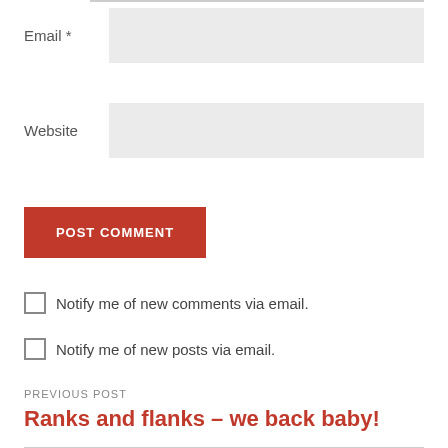Email *
Website
POST COMMENT
Notify me of new comments via email.
Notify me of new posts via email.
PREVIOUS POST
Ranks and flanks – we back baby!